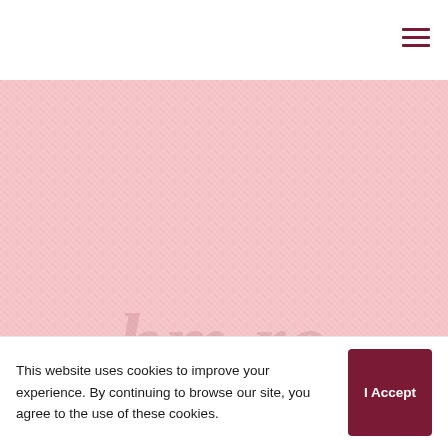[Figure (screenshot): Navigation bar with hamburger menu icon (three horizontal lines) in dark red/maroon color on white background, positioned at top right]
[Figure (photo): Large hero image area with pink/light rose background with fabric texture pattern overlay. Large faint italic watermark text visible at the bottom of the image area.]
This website uses cookies to improve your experience. By continuing to browse our site, you agree to the use of these cookies.
I Accept